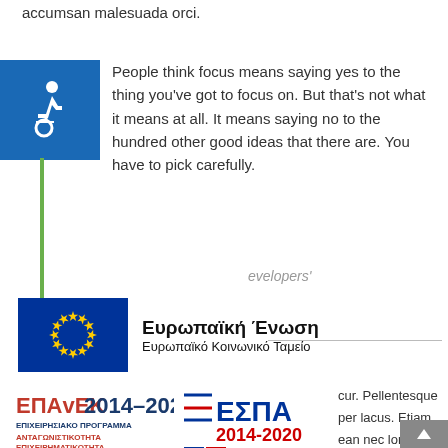accumsan malesuada orci.
[Figure (illustration): Wheelchair accessibility icon — white figure in wheelchair on blue square background]
People think focus means saying yes to the thing you've got to focus on. But that's not what it means at all. It means saying no to the hundred other good ideas that there are. You have to pick carefully.
evelopers'
[Figure (logo): European Union logo: dark blue rectangle with circle of yellow stars on left, text 'Ευρωπαϊκή Ένωση' bold large and 'Ευρωπαϊκό Κοινωνικό Ταμείο' below on right]
[Figure (logo): EPAvEK 2014-2020 logo: red and dark blue text with Greek subtitle lines]
[Figure (logo): ΕΣΠΑ 2014-2020 logo with Greek flag colors and tagline]
cur. Pellentesque per lacus. Etiam ean nec lorem